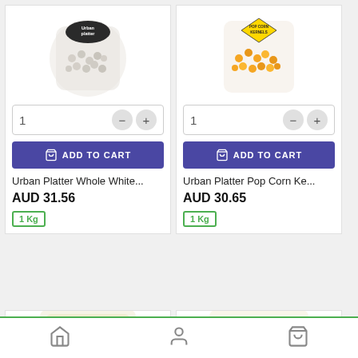[Figure (photo): Urban Platter Whole White product in clear bag with dark logo]
Urban Platter Whole White...
AUD 31.56
1 Kg
[Figure (photo): Urban Platter Pop Corn Kernels in clear bag with diamond-shaped label]
Urban Platter Pop Corn Ke...
AUD 30.65
1 Kg
[Figure (photo): Partially visible product in white/clear bag at bottom left]
[Figure (photo): Patanjali branded product partially visible at bottom right]